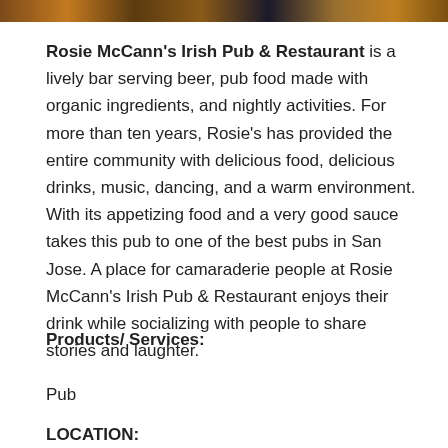[Figure (photo): Horizontal photo strip showing exterior and interior scenes of Rosie McCann's Irish Pub & Restaurant]
Rosie McCann's Irish Pub & Restaurant is a lively bar serving beer, pub food made with organic ingredients, and nightly activities. For more than ten years, Rosie's has provided the entire community with delicious food, delicious drinks, music, dancing, and a warm environment. With its appetizing food and a very good sauce takes this pub to one of the best pubs in San Jose. A place for camaraderie people at Rosie McCann's Irish Pub & Restaurant enjoys their drink while socializing with people to share stories and laughter.
Products/ Services:
Pub
LOCATION: